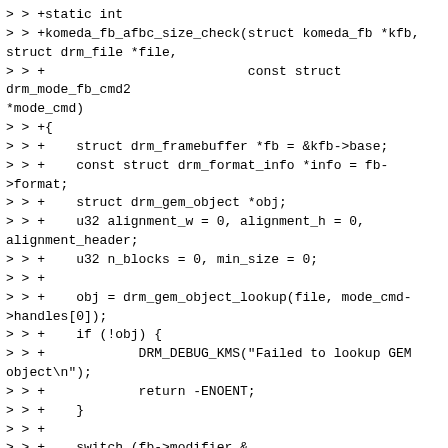> > +static int
> > +komeda_fb_afbc_size_check(struct komeda_fb *kfb,
struct drm_file *file,
> > +                          const struct drm_mode_fb_cmd2
*mode_cmd)
> > +{
> > +    struct drm_framebuffer *fb = &kfb->base;
> > +    const struct drm_format_info *info = fb->format;
> > +    struct drm_gem_object *obj;
> > +    u32 alignment_w = 0, alignment_h = 0,
alignment_header;
> > +    u32 n_blocks = 0, min_size = 0;
> > +
> > +    obj = drm_gem_object_lookup(file, mode_cmd->handles[0]);
> > +    if (!obj) {
> > +            DRM_DEBUG_KMS("Failed to lookup GEM
object\n");
> > +            return -ENOENT;
> > +    }
> > +
> > +    switch (fb->modifier &
AFBC_FORMAT_MOD_BLOCK_SIZE_MASK) {
> > +    case AFBC_FORMAT_MOD_BLOCK_SIZE_32x8:
> > +            alignment_w = 32;
> > +            alignment_h = 8;
> > +            break;
> > +    case AFBC_FORMAT_MOD_BLOCK_SIZE_16x16:
> > +            alignment_w = 16;